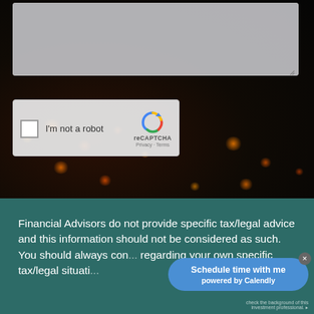[Figure (screenshot): Web form interface showing a textarea input box at top, a reCAPTCHA 'I'm not a robot' checkbox widget, and a Send button, all overlaid on a dark bokeh background photo]
Financial Advisors do not provide specific tax/legal advice and this information should not be considered as such. You should always con... regarding your own specific tax/legal situati...
[Figure (other): Calendly scheduling widget button: 'Schedule time with me powered by Calendly' in blue pill-shaped button]
check the background of this investment professional.